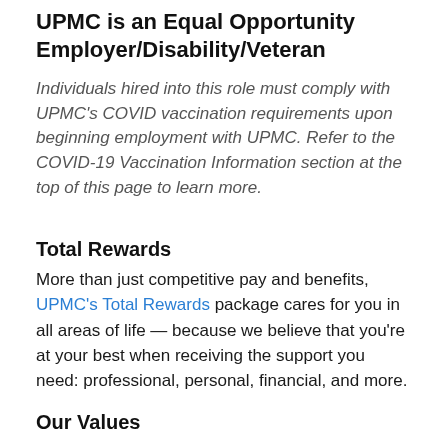UPMC is an Equal Opportunity Employer/Disability/Veteran
Individuals hired into this role must comply with UPMC's COVID vaccination requirements upon beginning employment with UPMC. Refer to the COVID-19 Vaccination Information section at the top of this page to learn more.
Total Rewards
More than just competitive pay and benefits, UPMC's Total Rewards package cares for you in all areas of life — because we believe that you're at your best when receiving the support you need: professional, personal, financial, and more.
Our Values